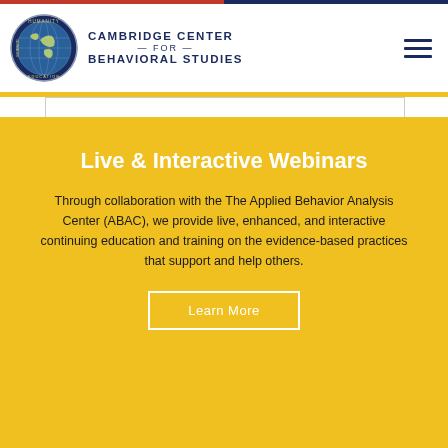[Figure (logo): Cambridge Center for Behavioral Studies logo with globe emblem and organization name]
Live & Interactive Webinars
Through collaboration with the The Applied Behavior Analysis Center (ABAC), we provide live, enhanced, and interactive continuing education and training on the evidence-based practices that support and help others.
Learn More